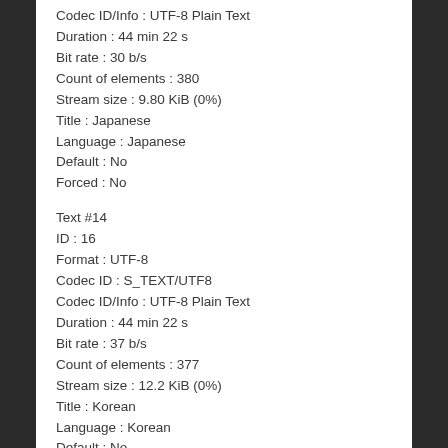Codec ID/Info : UTF-8 Plain Text
Duration : 44 min 22 s
Bit rate : 30 b/s
Count of elements : 380
Stream size : 9.80 KiB (0%)
Title : Japanese
Language : Japanese
Default : No
Forced : No
Text #14
ID : 16
Format : UTF-8
Codec ID : S_TEXT/UTF8
Codec ID/Info : UTF-8 Plain Text
Duration : 44 min 22 s
Bit rate : 37 b/s
Count of elements : 377
Stream size : 12.2 KiB (0%)
Title : Korean
Language : Korean
Default : No
Forced : No
Text #15
ID : 17
Format : UTF-8
Codec ID : S_TEXT/UTF8
Codec ID/Info : UTF-8 Plain Text
Duration : 44 min 22 s